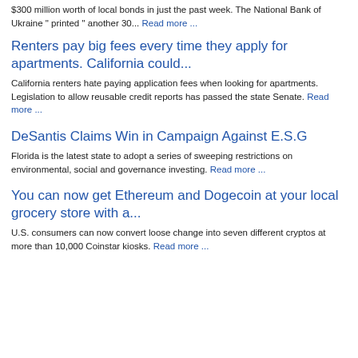$300 million worth of local bonds in just the past week. The National Bank of Ukraine " printed " another 30... Read more ...
Renters pay big fees every time they apply for apartments. California could...
California renters hate paying application fees when looking for apartments. Legislation to allow reusable credit reports has passed the state Senate. Read more ...
DeSantis Claims Win in Campaign Against E.S.G
Florida is the latest state to adopt a series of sweeping restrictions on environmental, social and governance investing. Read more ...
You can now get Ethereum and Dogecoin at your local grocery store with a...
U.S. consumers can now convert loose change into seven different cryptos at more than 10,000 Coinstar kiosks. Read more ...